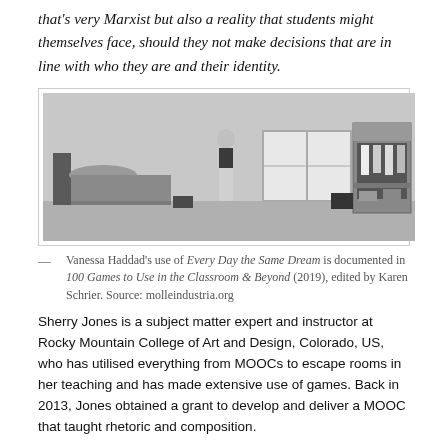that's very Marxist but also a reality that students might themselves face, should they not make decisions that are in line with who they are and their identity.
[Figure (illustration): Grayscale illustration of a minimalist bedroom scene with a bed on the left, a figure standing in the center, a window in the background, and a wardrobe/closet on the right.]
— Vanessa Haddad's use of Every Day the Same Dream is documented in 100 Games to Use in the Classroom & Beyond (2019), edited by Karen Schrier. Source: molleindustria.org
Sherry Jones is a subject matter expert and instructor at Rocky Mountain College of Art and Design, Colorado, US, who has utilised everything from MOOCs to escape rooms in her teaching and has made extensive use of games. Back in 2013, Jones obtained a grant to develop and deliver a MOOC that taught rhetoric and composition.